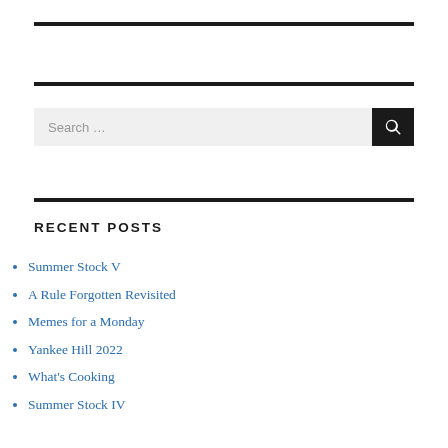[Figure (other): Horizontal rule / divider line at top]
[Figure (other): Horizontal rule / divider line (second)]
[Figure (other): Search bar with text field 'Search …' and a dark search button with magnifying glass icon]
[Figure (other): Horizontal rule / divider line (third)]
RECENT POSTS
Summer Stock V
A Rule Forgotten Revisited
Memes for a Monday
Yankee Hill 2022
What's Cooking
Summer Stock IV